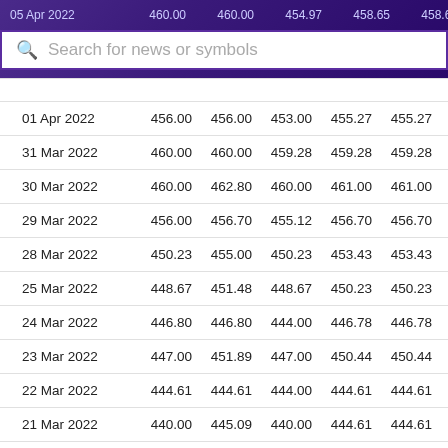| Date | Open | High | Low | Close | Adj Close | Volume |
| --- | --- | --- | --- | --- | --- | --- |
| 05 Apr 2022 | 460.00 | 460.00 | 454.97 | 458.65 | 458.65 | 92... |
| 01 Apr 2022 | 456.00 | 456.00 | 453.00 | 455.27 | 455.27 | 212... |
| 31 Mar 2022 | 460.00 | 460.00 | 459.28 | 459.28 | 459.28 | 155... |
| 30 Mar 2022 | 460.00 | 462.80 | 460.00 | 461.00 | 461.00 | 124... |
| 29 Mar 2022 | 456.00 | 456.70 | 455.12 | 456.70 | 456.70 | 312... |
| 28 Mar 2022 | 450.23 | 455.00 | 450.23 | 453.43 | 453.43 | 224... |
| 25 Mar 2022 | 448.67 | 451.48 | 448.67 | 450.23 | 450.23 | 164... |
| 24 Mar 2022 | 446.80 | 446.80 | 444.00 | 446.78 | 446.78 | 275... |
| 23 Mar 2022 | 447.00 | 451.89 | 447.00 | 450.44 | 450.44 | 294... |
| 22 Mar 2022 | 444.61 | 444.61 | 444.00 | 444.61 | 444.61 | 158... |
| 21 Mar 2022 | 440.00 | 445.09 | 440.00 | 444.61 | 444.61 | 641 |